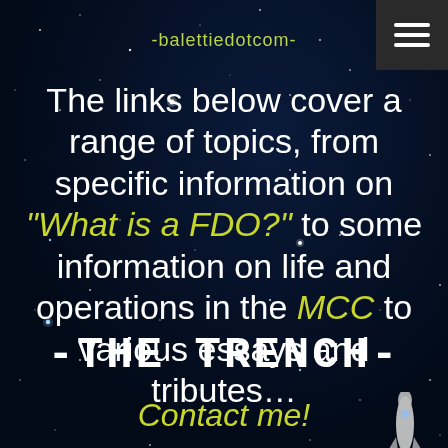-balettiedotcom-
The links below cover a range of topics, from specific information on "What is a FDO?" to some information on life and operations in the MCC to various essays and tributes…
[Figure (illustration): Small rocket/space shuttle illustration in the lower right of the text area]
-THE TRENCH-
Contact me!